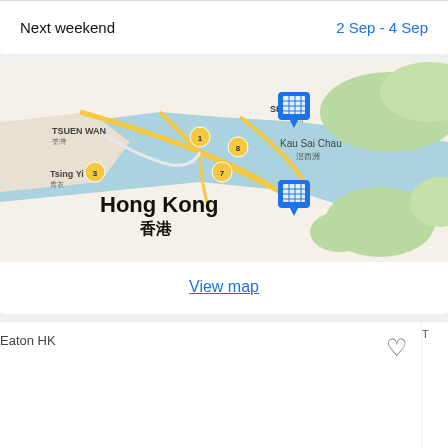Next weekend
2 Sep - 4 Sep
[Figure (map): Google Map showing Hong Kong area with markers for hotels. Visible labels: TSUEN WAN, SHA TIN, Tsing Yi, Hong Kong, 香港, Kau Sai Chau, 滘西洲. Two blue hotel marker pins visible.]
View map
Eaton HK
[Figure (photo): Partially visible hotel image on the right edge, cropped.]